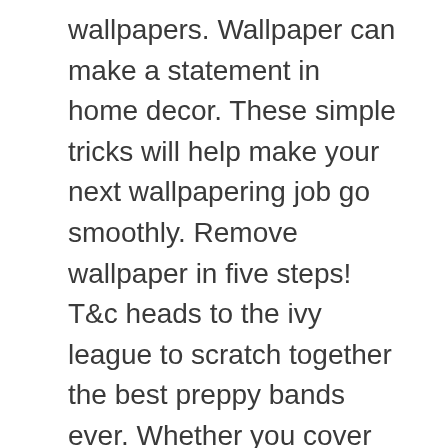wallpapers. Wallpaper can make a statement in home decor. These simple tricks will help make your next wallpapering job go smoothly. Remove wallpaper in five steps! T&c heads to the ivy league to scratch together the best preppy bands ever. Whether you cover an entire room or a single wall, wallpaper will update your space and tie your home's look. Easy directions on how to change your computer background or wallpaper for all major operating systems as well as your mobile device.
Download Preppy Wallpapers For Computer Images. We may earn commission on some of the items you choose to buy. Check out these contemporary wallpaper designs from hgtv.com to